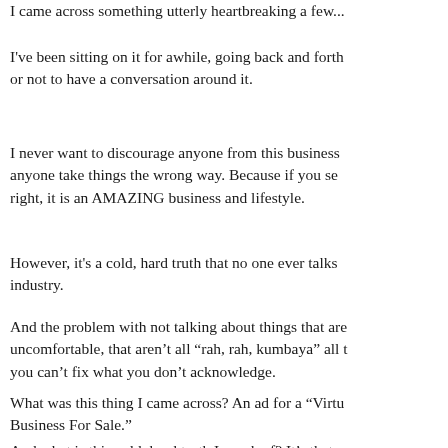I came across something utterly heartbreaking a few...
I've been sitting on it for awhile, going back and forth or not to have a conversation around it.
I never want to discourage anyone from this business anyone take things the wrong way. Because if you se right, it is an AMAZING business and lifestyle.
However, it's a cold, hard truth that no one ever talks industry.
And the problem with not talking about things that are uncomfortable, that aren't all “rah, rah, kumbaya” all t you can't fix what you don't acknowledge.
What was this thing I came across? An ad for a “Virtu Business For Sale.”
And what is this cold, hard truth I speak of? It's that m...